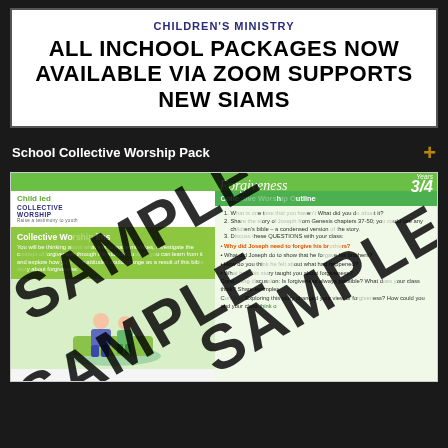ALL INCHOOL PACKAGES NOW AVAILABLE VIA ZOOM SUPPORTS NEW SIAMS
School Collective Worship Pack
[Figure (illustration): Sample page from Child Led Collective Worship pack on 'Forgiveness' for Years 3/4, showing collective worship aims, outline, and discussion questions, overlaid with multiple large 'SAMPLE' watermarks.]